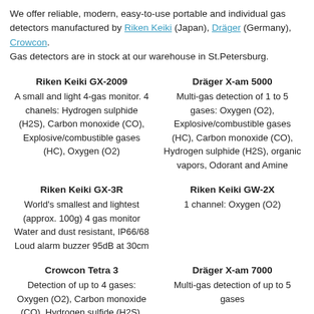We offer reliable, modern, easy-to-use portable and individual gas detectors manufactured by Riken Keiki (Japan), Dräger (Germany), Crowcon. Gas detectors are in stock at our warehouse in St.Petersburg.
Riken Keiki GX-2009
A small and light 4-gas monitor. 4 chanels: Hydrogen sulphide (H2S), Carbon monoxide (CO), Explosive/combustible gases (HC), Oxygen (O2)
Dräger X-am 5000
Multi-gas detection of 1 to 5 gases: Oxygen (O2), Explosive/combustible gases (HC), Carbon monoxide (CO), Hydrogen sulphide (H2S), organic vapors, Odorant and Amine
Riken Keiki GX-3R
World's smallest and lightest (approx. 100g) 4 gas monitor Water and dust resistant, IP66/68 Loud alarm buzzer 95dB at 30cm
Riken Keiki GW-2X
1 channel: Oxygen (O2)
Crowcon Tetra 3
Detection of up to 4 gases: Oxygen (O2), Carbon monoxide (CO), Hydrogen sulfide (H2S), Methane
Dräger X-am 7000
Multi-gas detection of up to 5 gases
Riken Keiki RX-8500
Riken Keiki RX-8700